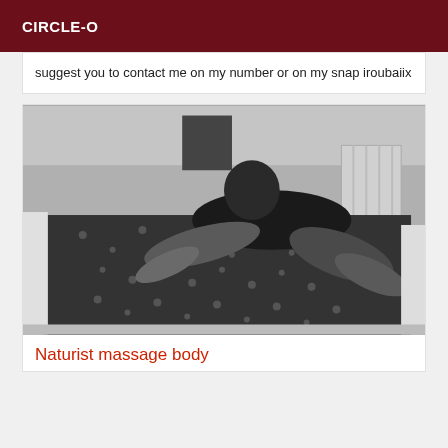CIRCLE-O
suggest you to contact me on my number or on my snap iroubaiix
[Figure (photo): Black and white photograph of a woman in a black outfit posing on a patterned bed/mattress in a room with a radiator visible in the background.]
Naturist massage body